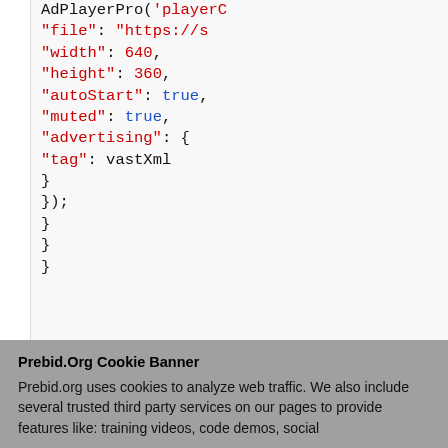AdPlayerPro('playerC
    "file": "https://s
    "width": 640,
    "height": 360,
    "autoStart": true,
    "muted": true,
    "advertising": {
        "tag": vastXml
    }
});
}
}
}
Prebid.Org Cookie Banner
Prebid.org uses cookies to analyze web traffic. We also include several trusted third party services on our pages to provide features like: training videos, code demos, social